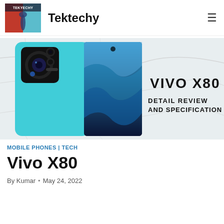Tektechy
[Figure (photo): Hero banner image showing a teal/cyan Vivo X80 smartphone (front and back view) against a marble background with text 'VIVO X80 DETAIL REVIEW AND SPECIFICATION' in bold black letters]
MOBILE PHONES | TECH
Vivo X80
By Kumar • May 24, 2022